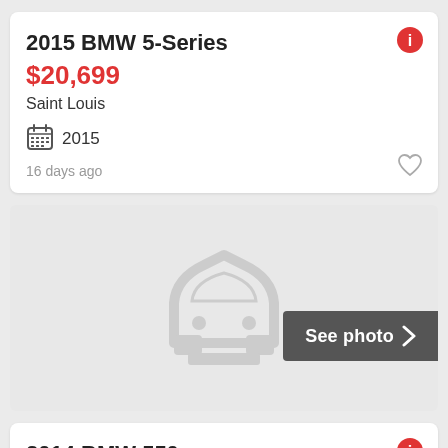2015 BMW 5-Series
$20,699
Saint Louis
2015
16 days ago
[Figure (illustration): Car placeholder icon on gray background with 'See photo' button]
2014 BMW 550
$33,489